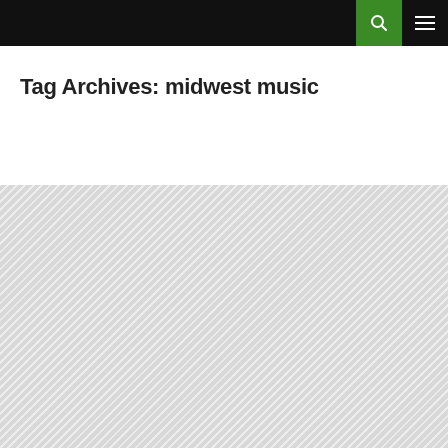Tag Archives: midwest music
[Figure (other): Hatched/striped grey placeholder area filling the lower portion of the page]